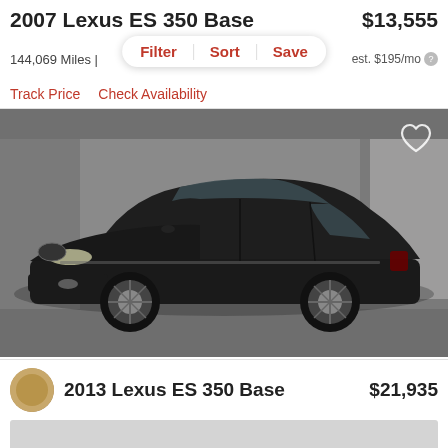2007 Lexus ES 350 Base
$13,555
144,069 Miles |
Filter  Sort  Save
est. $195/mo
Track Price   Check Availability
[Figure (photo): Black 2007 Lexus ES 350 Base sedan photographed in a parking garage, three-quarter front view, dark color]
2013 Lexus ES 350 Base
$21,935